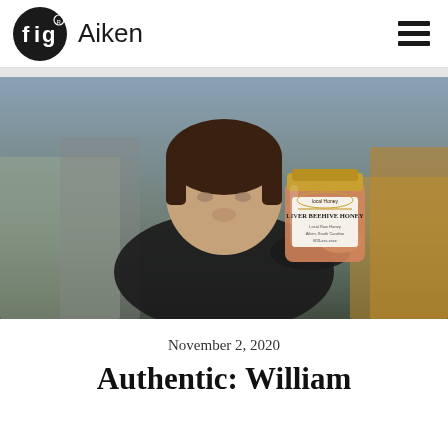fig Aiken
[Figure (photo): Young man holding up a jar of 'Liver Beehive Honey' local honey product toward the camera, blurred background with outdoor setting]
November 2, 2020
Authentic: William